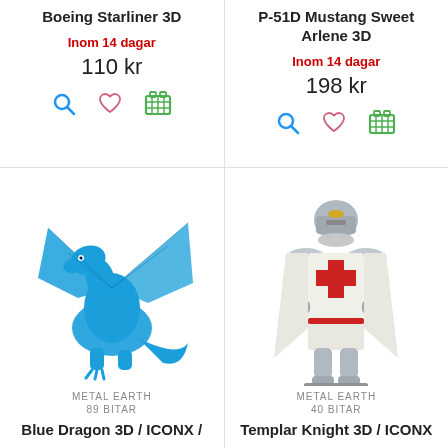Boeing Starliner 3D
Inom 14 dagar
110 kr
P-51D Mustang Sweet Arlene 3D
Inom 14 dagar
198 kr
[Figure (photo): Blue metallic dragon 3D model figure]
METAL EARTH
89 BITAR
Blue Dragon 3D / ICONX /
[Figure (photo): Templar Knight 3D metal model figure in silver armor with red cross]
METAL EARTH
40 BITAR
Templar Knight 3D / ICONX